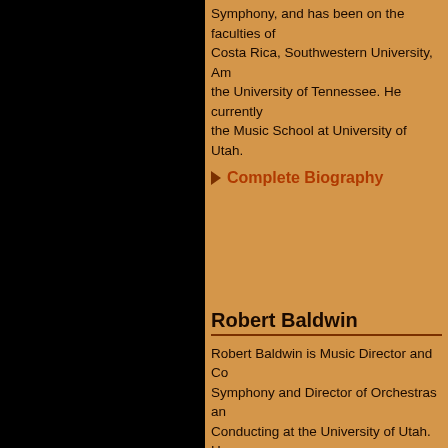Symphony, and has been on the faculties of Costa Rica, Southwestern University, Am the University of Tennessee. He currently the Music School at University of Utah.
Complete Biography
Robert Baldwin
Robert Baldwin is Music Director and Co Symphony and Director of Orchestras an Conducting at the University of Utah. He conductor for Sinfonia Salt Lake, a profes orchestra that made its critically acclaime appeared across the North America, Euro conductor and viola player. International include the Hunan Symphony in China, B Music Festival in South Korea, Eutin Fes Kuopio Academy of Music in Finland, and Camerata in Saint Petersburg, Russia, a University of Utah Chamber Orchestra to and Salzburg. In demand as a guest con also has conducted performances with th Lafayette Symphony, Lexington Philharm the Arts, Abilene Tri-Collegiates Opera ...